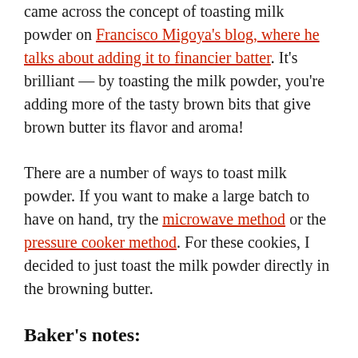came across the concept of toasting milk powder on Francisco Migoya's blog, where he talks about adding it to financier batter. It's brilliant — by toasting the milk powder, you're adding more of the tasty brown bits that give brown butter its flavor and aroma!
There are a number of ways to toast milk powder. If you want to make a large batch to have on hand, try the microwave method or the pressure cooker method. For these cookies, I decided to just toast the milk powder directly in the browning butter.
Baker's notes:
When toasting the milk powder, keep the